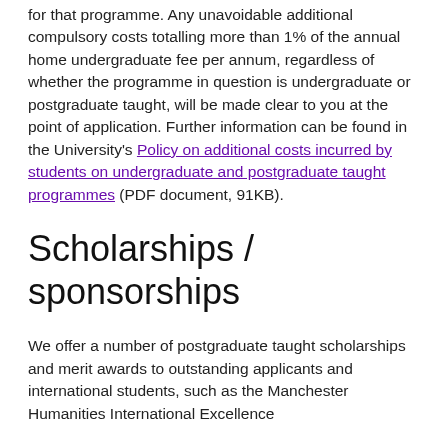for that programme. Any unavoidable additional compulsory costs totalling more than 1% of the annual home undergraduate fee per annum, regardless of whether the programme in question is undergraduate or postgraduate taught, will be made clear to you at the point of application. Further information can be found in the University's Policy on additional costs incurred by students on undergraduate and postgraduate taught programmes (PDF document, 91KB).
Scholarships / sponsorships
We offer a number of postgraduate taught scholarships and merit awards to outstanding applicants and international students, such as the Manchester Humanities International Excellence